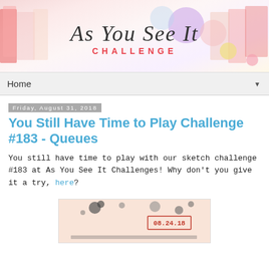[Figure (illustration): As You See It Challenge blog header banner with colorful background and handwritten-style logo text]
Home ▼
Friday, August 31, 2018
You Still Have Time to Play Challenge #183 - Queues
You still have time to play with our sketch challenge #183 at As You See It Challenges! Why don't you give it a try, here?
[Figure (illustration): Partial view of a craft challenge card with peach/pink background, ink splatters, and date stamp reading 08.24.18]